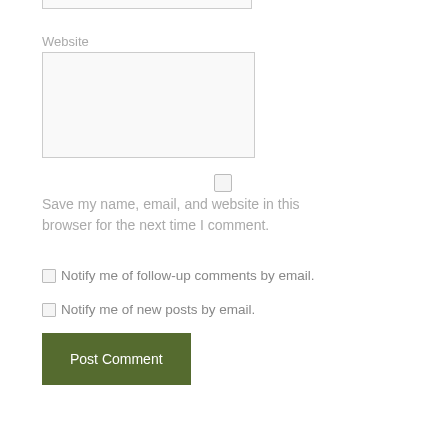Website
[Figure (other): Website text input field (empty)]
[Figure (other): Checkbox for saving name, email, and website in browser]
Save my name, email, and website in this browser for the next time I comment.
Notify me of follow-up comments by email.
Notify me of new posts by email.
Post Comment